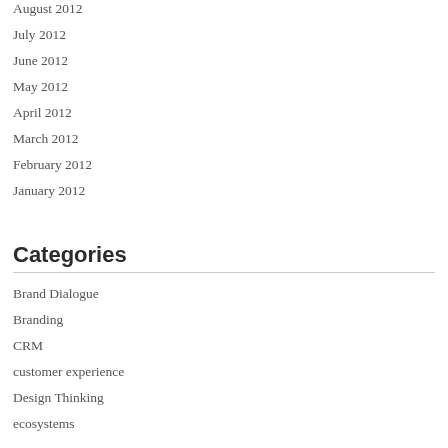August 2012
July 2012
June 2012
May 2012
April 2012
March 2012
February 2012
January 2012
Categories
Brand Dialogue
Branding
CRM
customer experience
Design Thinking
ecosystems